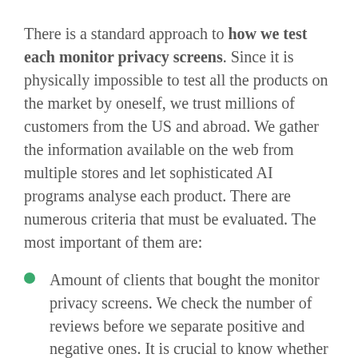There is a standard approach to how we test each monitor privacy screens. Since it is physically impossible to test all the products on the market by oneself, we trust millions of customers from the US and abroad. We gather the information available on the web from multiple stores and let sophisticated AI programs analyse each product. There are numerous criteria that must be evaluated. The most important of them are:
Amount of clients that bought the monitor privacy screens. We check the number of reviews before we separate positive and negative ones. It is crucial to know whether the product is on-demand or not;
History of the brand. If the company developer produced completely different goods before they decided to switch to the monitor privacy screens, we will be more cautious about them: